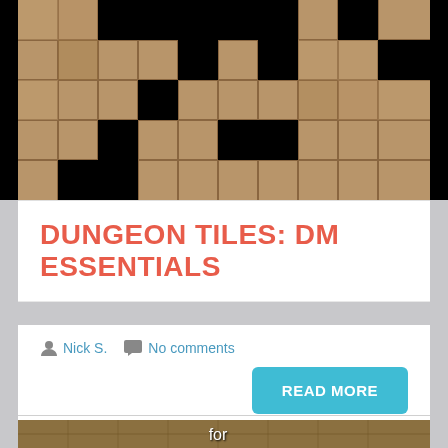[Figure (photo): Dungeon tile map showing stone floor tiles with black void spaces forming a dungeon room layout pattern]
DUNGEON TILES: DM ESSENTIALS
Nick S.   No comments
[Figure (photo): Stone tile background image with text 'for Virtual Tabletop' overlaid in large white font]